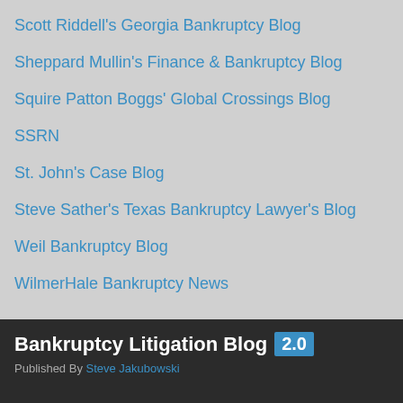Scott Riddell's Georgia Bankruptcy Blog
Sheppard Mullin's Finance & Bankruptcy Blog
Squire Patton Boggs' Global Crossings Blog
SSRN
St. John's Case Blog
Steve Sather's Texas Bankruptcy Lawyer's Blog
Weil Bankruptcy Blog
WilmerHale Bankruptcy News
Bankruptcy Litigation Blog 2.0 Published By Steve Jakubowski